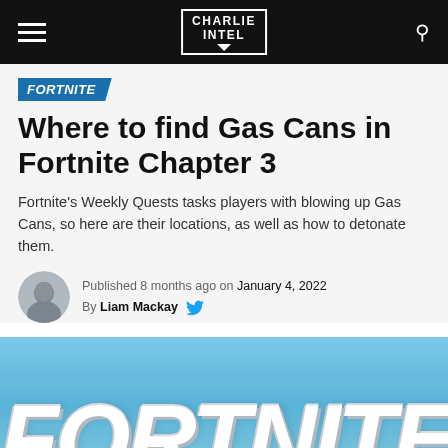Charlie Intel
FORTNITE
Where to find Gas Cans in Fortnite Chapter 3
Fortnite's Weekly Quests tasks players with blowing up Gas Cans, so here are their locations, as well as how to detonate them.
Published 8 months ago on January 4, 2022
By Liam Mackay
[Figure (photo): Fortnite logo in large white 3D letters against a blue sky background with snowy landscape]